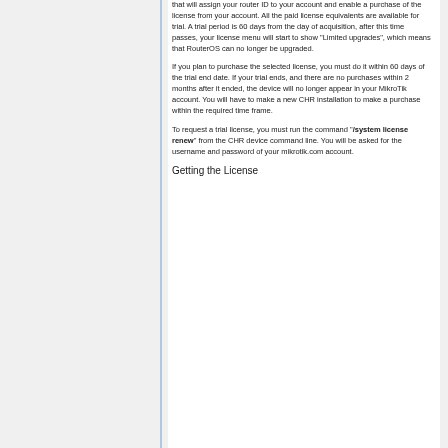that will assign your router ID to your account and enable a purchase of the license from your account. All the paid license equivalents are available for trial. A trial period is 60 days from the day of acquisition, after this time passes, your license menu will start to show "Limited upgrades", which means that RouterOS can no longer be upgraded.
If you plan to purchase the selected license, you must do it within 60 days of the trial end date. If your trial ends, and there are no purchases within 2 months after it ended, the device will no longer appear in your MikroTik account. You will have to make a new CHR installation to make a purchase within the required time frame.
To request a trial license, you must run the command "/system license renew" from the CHR device command line. You will be asked for the username and password of your mikrotik.com account.
Getting the License